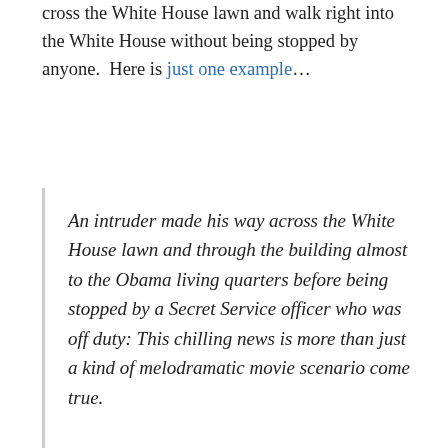cross the White House lawn and walk right into the White House without being stopped by anyone.  Here is just one example…
An intruder made his way across the White House lawn and through the building almost to the Obama living quarters before being stopped by a Secret Service officer who was off duty: This chilling news is more than just a kind of melodramatic movie scenario come true.
Next to the military, the Secret Service is probably the most highly regarded institution within the American…